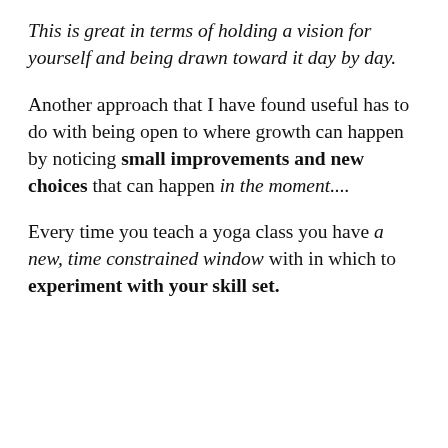This is great in terms of holding a vision for yourself and being drawn toward it day by day.
Another approach that I have found useful has to do with being open to where growth can happen by noticing small improvements and new choices that can happen in the moment....
Every time you teach a yoga class you have a new, time constrained window with in which to experiment with your skill set.